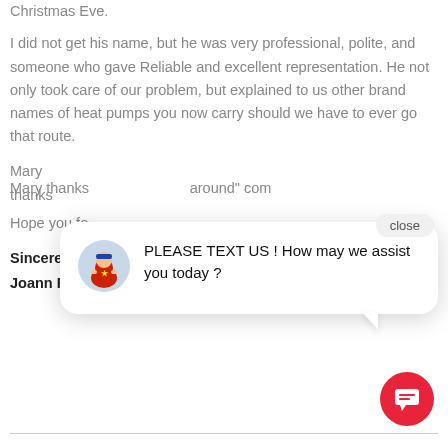Christmas Eve.
I did not get his name, but he was very professional, polite, and someone who gave Reliable and excellent representation. He not only took care of our problem, but explained to us other brand names of heat pumps you now carry should we have to ever go that route.
Mary thanks [partially obscured] around" com[partially obscured]
Hope you fo[partially obscured]
Sincerely,
Joann Follis
[Figure (screenshot): Chat popup with avatar icon and message: PLEASE TEXT US ! How may we assist you today ?]
close